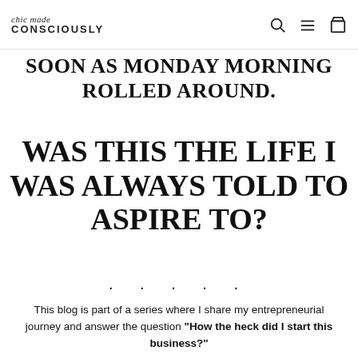chic made CONSCIOUSLY
SOON AS MONDAY MORNING ROLLED AROUND.
WAS THIS THE LIFE I WAS ALWAYS TOLD TO ASPIRE TO?
. . . . .
This blog is part of a series where I share my entrepreneurial journey and answer the question "How the heck did I start this business?"